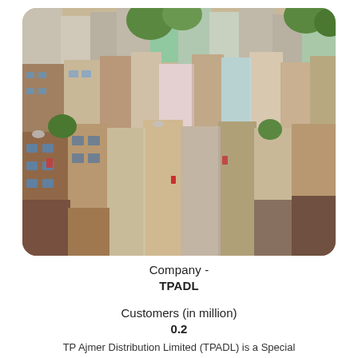[Figure (photo): Aerial view of a dense urban residential area with colorful multi-story buildings, brick structures, and rooftops, resembling an Indian city neighborhood.]
Company -
TPADL
Customers (in million)
0.2
TP Ajmer Distribution Limited (TPADL) is a Special